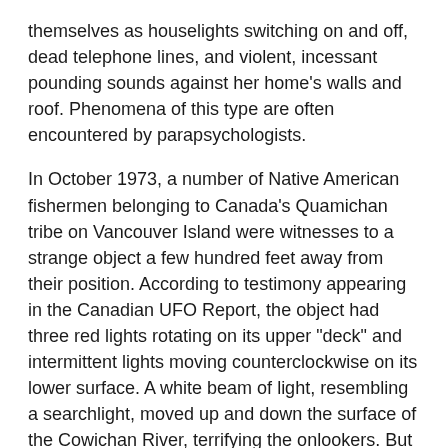themselves as houselights switching on and off, dead telephone lines, and violent, incessant pounding sounds against her home's walls and roof. Phenomena of this type are often encountered by parapsychologists.
In October 1973, a number of Native American fishermen belonging to Canada's Quamichan tribe on Vancouver Island were witnesses to a strange object a few hundred feet away from their position. According to testimony appearing in the Canadian UFO Report, the object had three red lights rotating on its upper "deck" and intermittent lights moving counterclockwise on its lower surface. A white beam of light, resembling a searchlight, moved up and down the surface of the Cowichan River, terrifying the onlookers. But what truly astounded the Quamichan fishermen was the fact that the discoidal object changed shape into that of an airplane, making the characteristic engine sounds of an aircraft. It flew over the witnesses vanished beyond the treeline.
The Mind-Benders
While morphing UFOs may lead us to question the solidity of